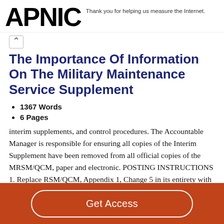APNIC — Thank you for helping us measure the Internet.
The Importance Of Information On The Military Maintenance Service Supplement
1367 Words
6 Pages
interim supplements, and control procedures. The Accountable Manager is responsible for ensuring all copies of the Interim Supplement have been removed from all official copies of the MRSM/QCM, paper and electronic. POSTING INSTRUCTIONS 1. Replace RSM/QCM, Appendix 1, Change 5 in its entirety with the following information: General Information: The MRS maintains both electronic and hard
Get Access